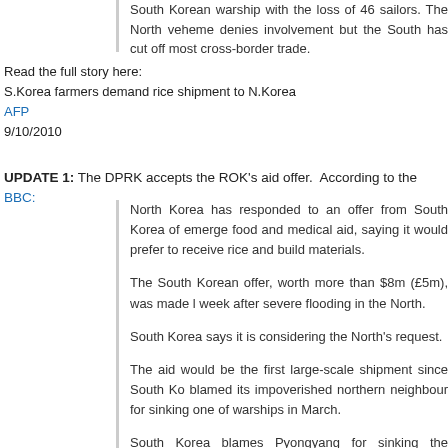South Korean warship with the loss of 46 sailors. The North vehemently denies involvement but the South has cut off most cross-border trade.
Read the full story here:
S.Korea farmers demand rice shipment to N.Korea
AFP
9/10/2010
UPDATE 1: The DPRK accepts the ROK's aid offer.  According to the BBC:
North Korea has responded to an offer from South Korea of emergency food and medical aid, saying it would prefer to receive rice and building materials.
The South Korean offer, worth more than $8m (£5m), was made last week after severe flooding in the North.
South Korea says it is considering the North's request.
The aid would be the first large-scale shipment since South Korea blamed its impoverished northern neighbour for sinking one of its warships in March.
South Korea blames Pyongyang for sinking the Cheonan with a torpedo, killing 46 crew.
North Korea denies any role in the incident and has demanded its own investigation.
Food aid...